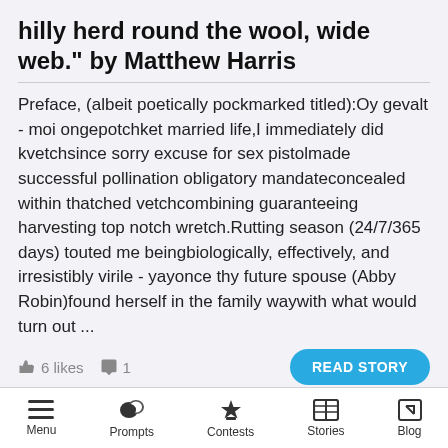hilly herd round the wool, wide web.” by Matthew Harris
Preface, (albeit poetically pockmarked titled):Oy gevalt - moi ongepotchket married life,I immediately did kvetchsince sorry excuse for sex pistolmade successful pollination obligatory mandateconcealed within thatched vetchcombining guaranteeing harvesting top notch wretch.Rutting season (24/7/365 days) touted me beingbiologically, effectively, and irresistibly virile - yayonce thy future spouse (Abby Robin)found herself in the family waywith what would turn out ...
👍 6 likes  💬 1
READ STORY
“Must I?” by Ryan Wickel
Menu  Prompts  Contests  Stories  Blog